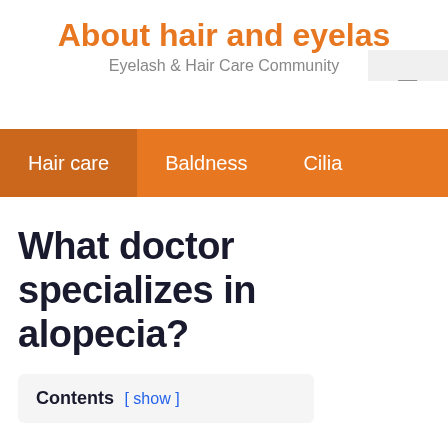About hair and eyelas
Eyelash & Hair Care Community
What doctor specializes in alopecia?
Contents [ show ]